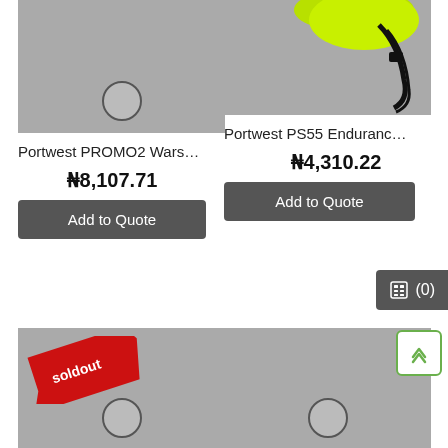[Figure (photo): Product image placeholder, gray background with circle, top-left]
[Figure (photo): Portwest PS55 helmet with strap, gray background, top-right]
Portwest PROMO2 Warsa…
Portwest PS55 Enduranc…
₦8,107.71
₦4,310.22
Add to Quote
Add to Quote
[Figure (photo): Product image with soldout ribbon overlay, gray background with circle, bottom-left]
[Figure (photo): Product image placeholder, gray background with circle, bottom-right]